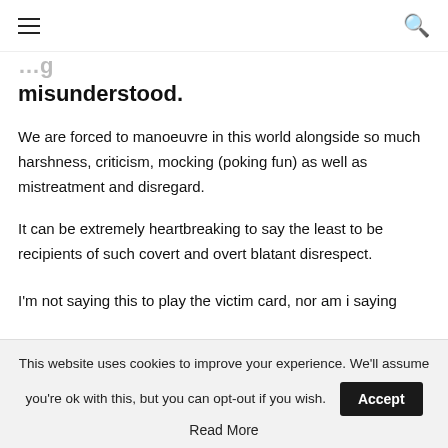≡  🔍
misunderstood.
We are forced to manoeuvre in this world alongside so much harshness, criticism, mocking (poking fun) as well as mistreatment and disregard.
It can be extremely heartbreaking to say the least to be recipients of such covert and overt blatant disrespect.
I'm not saying this to play the victim card, nor am i saying
This website uses cookies to improve your experience. We'll assume you're ok with this, but you can opt-out if you wish. Accept
Read More